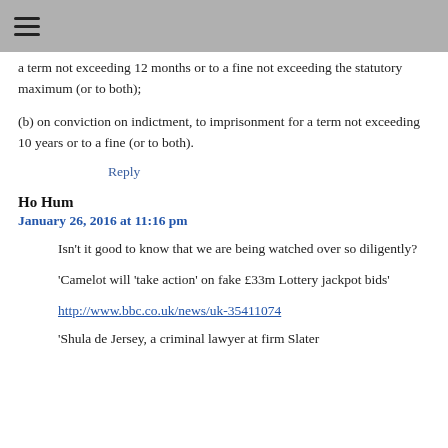≡
a term not exceeding 12 months or to a fine not exceeding the statutory maximum (or to both);
(b) on conviction on indictment, to imprisonment for a term not exceeding 10 years or to a fine (or to both).
Reply
Ho Hum
January 26, 2016 at 11:16 pm
Isn't it good to know that we are being watched over so diligently?
'Camelot will 'take action' on fake £33m Lottery jackpot bids'
http://www.bbc.co.uk/news/uk-35411074
'Shula de Jersey, a criminal lawyer at firm Slater